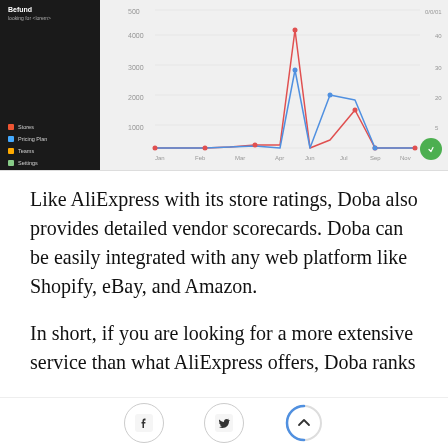[Figure (screenshot): Screenshot of a web analytics dashboard with a dark sidebar (showing Stores, Pricing Plan, Teams, Settings navigation) and a line chart on a light grey background showing two lines (red and blue) with a large peak in the middle section.]
Like AliExpress with its store ratings, Doba also provides detailed vendor scorecards. Doba can be easily integrated with any web platform like Shopify, eBay, and Amazon.
In short, if you are looking for a more extensive service than what AliExpress offers, Doba ranks
[Figure (screenshot): Bottom navigation bar with Facebook icon, Twitter icon, and a circular progress/scroll-to-top button]